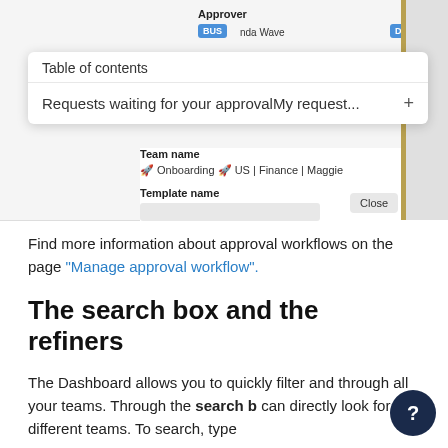[Figure (screenshot): Screenshot of a web application showing an Approver field with blue badges, a Table of Contents popup overlay, and a form with Team name (Onboarding, US | Finance | Maggie) and Template name fields, with a Close button and a gold vertical sidebar bar.]
Find more information about approval workflows on the page "Manage approval workflow".
The search box and the refiners
The Dashboard allows you to quickly filter and through all your teams. Through the search b can directly look for different teams. To search, type